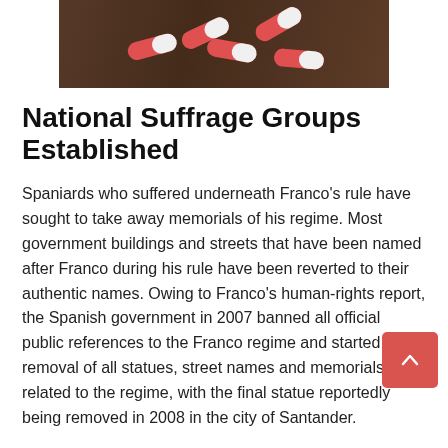[Figure (photo): Red and white capsule pills scattered on a dark wooden surface]
National Suffrage Groups Established
Spaniards who suffered underneath Franco's rule have sought to take away memorials of his regime. Most government buildings and streets that have been named after Franco during his rule have been reverted to their authentic names. Owing to Franco's human-rights report, the Spanish government in 2007 banned all official public references to the Franco regime and started the removal of all statues, street names and memorials related to the regime, with the final statue reportedly being removed in 2008 in the city of Santander.
The longevity of Franco's rule, his suppression of opposition, and the efficient propaganda sustained by way of the years have made a detached analysis tough. For nearly forty years, Spaniards, and significantly children at